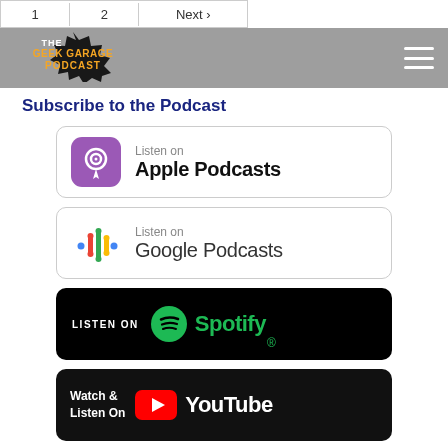1  2  Next >
[Figure (logo): The Geek Garage Podcast logo — comic-style burst with orange and yellow text]
Subscribe to the Podcast
[Figure (illustration): Listen on Apple Podcasts badge with purple podcast icon]
[Figure (illustration): Listen on Google Podcasts badge with colorful microphone icon]
[Figure (illustration): Listen on Spotify badge with green Spotify logo on black background]
[Figure (illustration): Watch & Listen On YouTube badge with red YouTube play button on black background]